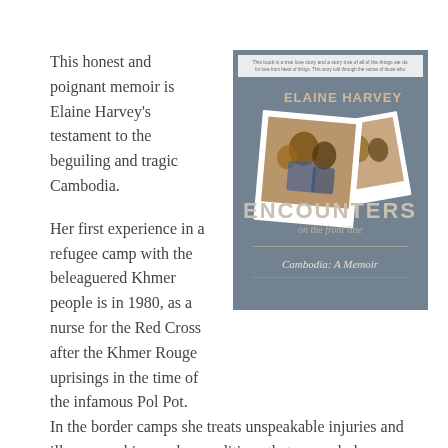This honest and poignant memoir is Elaine Harvey's testament to the beguiling and tragic Cambodia.
[Figure (photo): Book cover of 'Encounters on the Front Line: Cambodia: A Memoir' by Elaine Harvey, showing polaroid-style photos of people in a refugee camp setting.]
Her first experience in a refugee camp with the beleaguered Khmer people is in 1980, as a nurse for the Red Cross after the Khmer Rouge uprisings in the time of the infamous Pol Pot. In the border camps she treats unspeakable injuries and illness, working under conditions that can only be imagined.
In spite of the devastating effects of the intense emotional...